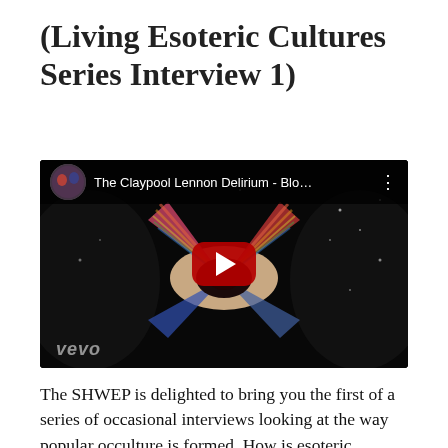(Living Esoteric Cultures Series Interview 1)
[Figure (screenshot): YouTube video embed thumbnail for 'The Claypool Lennon Delirium - Blo...' showing a dark psychedelic background with an eye and star-burst rainbow pattern, a red play button in the center, a circular thumbnail in the top-left, and the Vevo watermark in the bottom-left.]
The SHWEP is delighted to bring you the first of a series of occasional interviews looking at the way popular occulture is formed. How is esoteric knowledge transmitted from